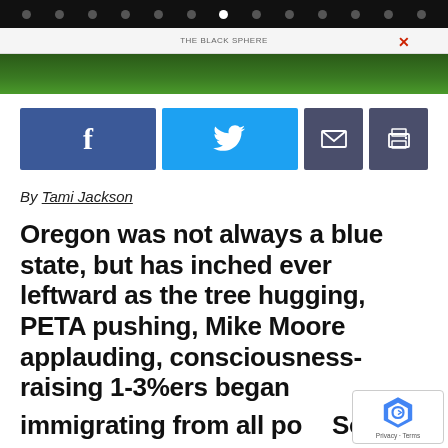[Figure (screenshot): Top navigation bar with dots and website nav bar showing 'THE BLACK SPHERE']
[Figure (photo): Green tree/forest hero image at top of article]
[Figure (screenshot): Social share buttons: Facebook (blue), Twitter (light blue), Email (dark), Print (dark)]
By Tami Jackson
Oregon was not always a blue state, but has inched ever leftward as the tree hugging, PETA pushing, Mike Moore applauding, consciousness-raising 1-3%ers began immigrating from all po... South.